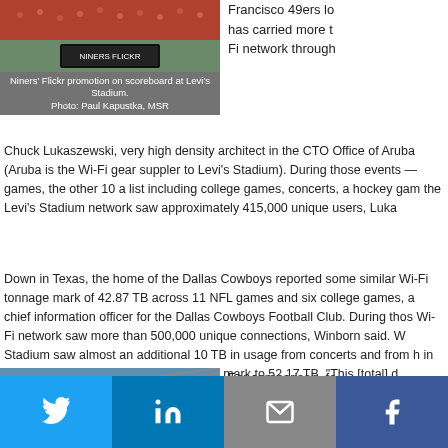[Figure (photo): Stadium crowd photo at Levi's Stadium, Niners Flickr promotion on scoreboard]
Niners' Flickr promotion on scoreboard at Levi's Stadium. Photo: Paul Kapustka, MSR
Francisco 49ers lo has carried more t Fi network through
Chuck Lukaszewski, very high density architect in the CTO Office of Aruba (Aruba is the Wi-Fi gear suppler to Levi's Stadium). During those events — games, the other 10 a list including college games, concerts, a hockey gam the Levi's Stadium network saw approximately 415,000 unique users, Luka
Down in Texas, the home of the Dallas Cowboys reported some similar Wi- tonnage mark of 42.87 TB across 11 NFL games and six college games, a chief information officer for the Dallas Cowboys Football Club. During thos Wi-Fi network saw more than 500,000 unique connections, Winborn said. W Stadium saw almost an additional 10 TB in usage from concerts and from h in 2014, pushing the venue's Wi-Fi usage mark to 52.17 TB. "This [total] d (Supercross, Monster Trucks, Rodeos) and other full stadium events that w number," Winborn added in an email to MSR.
[Figure (photo): Exterior of a stadium with visible signage, partial view]
For comparison, fo Stadium has a nor additional seating
Twitter | LinkedIn | Email | Facebook